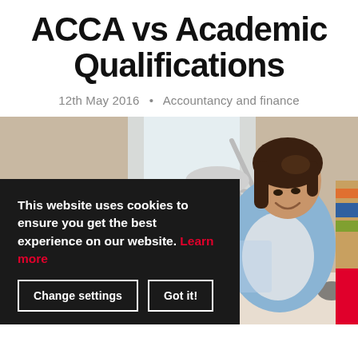ACCA vs Academic Qualifications
12th May 2016  •  Accountancy and finance
[Figure (photo): Young woman studying at a desk with a lamp, smiling at a laptop, with a coffee cup nearby in a home study setting]
This website uses cookies to ensure you get the best experience on our website. Learn more
Change settings  |  Got it!